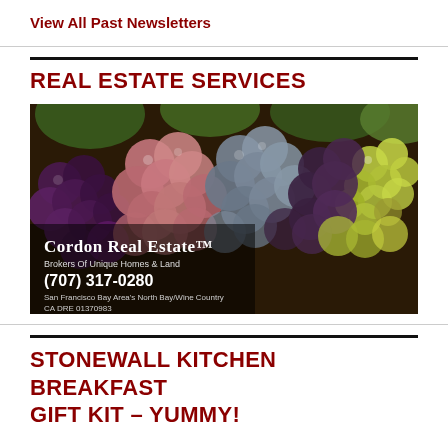View All Past Newsletters
REAL ESTATE SERVICES
[Figure (photo): Advertisement photo for Cordon Real Estate showing a close-up of colorful grape clusters (purple, pink, green grapes). Overlaid text reads: CORDON REAL ESTATE, Brokers Of Unique Homes & Land, (707) 317-0280, San Francisco Bay Area's North Bay/Wine Country, CA DRE 01370983]
STONEWALL KITCHEN BREAKFAST GIFT KIT – YUMMY!